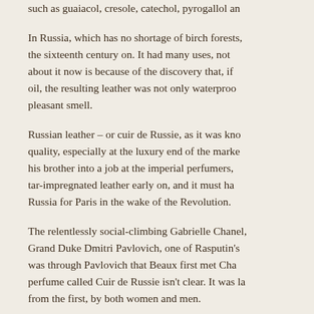such as guaiacol, cresole, catechol, pyrogallol an
In Russia, which has no shortage of birch forests, the sixteenth century on. It had many uses, not about it now is because of the discovery that, if oil, the resulting leather was not only waterproo pleasant smell.
Russian leather – or cuir de Russie, as it was kno quality, especially at the luxury end of the marke his brother into a job at the imperial perfumers, tar-impregnated leather early on, and it must ha Russia for Paris in the wake of the Revolution.
The relentlessly social-climbing Gabrielle Chanel, Grand Duke Dmitri Pavlovich, one of Rasputin's was through Pavlovich that Beaux first met Cha perfume called Cuir de Russie isn't clear. It was la from the first, by both women and men.
Though the use of rectified birch tar in perfume 'reorchestrated' (for which read 'reformulated') b still, it's said, a fair approximation of Ernest Beau edged than the original.